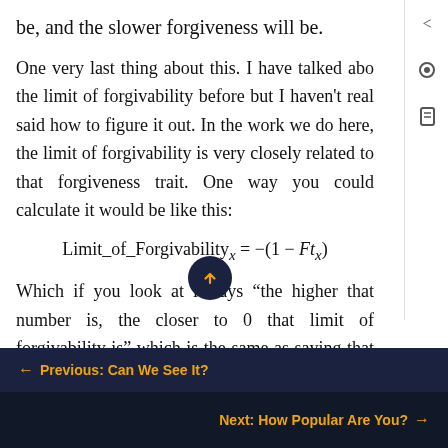be, and the slower forgiveness will be.
One very last thing about this. I have talked about the limit of forgivability before but I haven't really said how to figure it out. In the work we do here, the limit of forgivability is very closely related to that forgiveness trait. One way you could calculate it would be like this:
Which if you look at it says “the higher that number is, the closer to 0 that limit of forgivability is” which is the same as saying that the higher the number is, the much less likely forgiveness will happen at all after a
← Previous: Can We See It?
Next: How Popular Are You? →